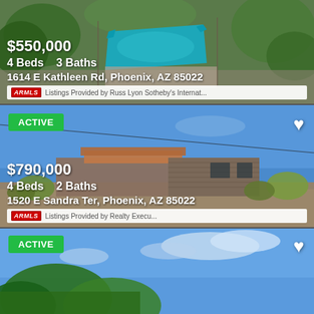[Figure (photo): Aerial view of a house with a pool surrounded by trees and landscaping]
$550,000
4 Beds    3 Baths
1614 E Kathleen Rd, Phoenix, AZ 85022
ARMLS  Listings Provided by Russ Lyon Sotheby's Internat...
[Figure (photo): Desert house with terra cotta tile roof surrounded by desert vegetation and scrub brush]
ACTIVE
$790,000
4 Beds    2 Baths
1520 E Sandra Ter, Phoenix, AZ 85022
ARMLS  Listings Provided by Realty Execu...
[Figure (photo): Exterior view of house with blue sky and trees]
ACTIVE